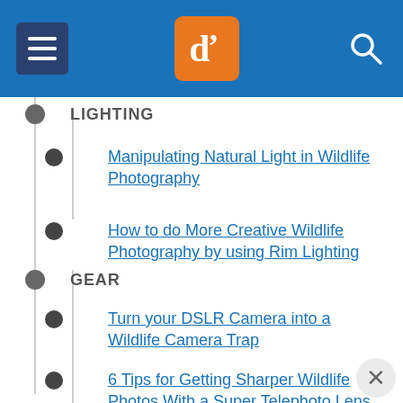dPS (Digital Photography School) navigation header
LIGHTING (section header)
Manipulating Natural Light in Wildlife Photography
How to do More Creative Wildlife Photography by using Rim Lighting
GEAR (section header)
Turn your DSLR Camera into a Wildlife Camera Trap
6 Tips for Getting Sharper Wildlife Photos With a Super Telephoto Lens
How to Use a Wide-angle Lens with Wildlife fo...